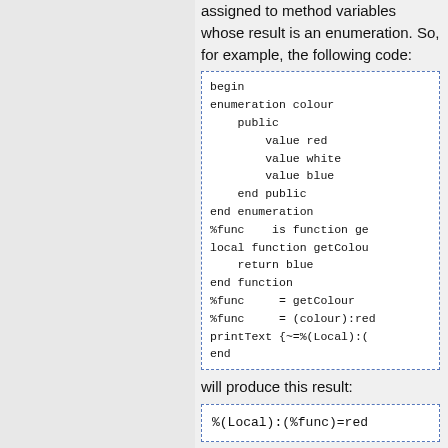assigned to method variables whose result is an enumeration. So, for example, the following code:
[Figure (screenshot): Code block with dashed blue border showing a begin/enumeration/function example in monospace font]
will produce this result:
[Figure (screenshot): Code block with dashed blue border showing %(Local):(%func)=red]
whereas previously this line: